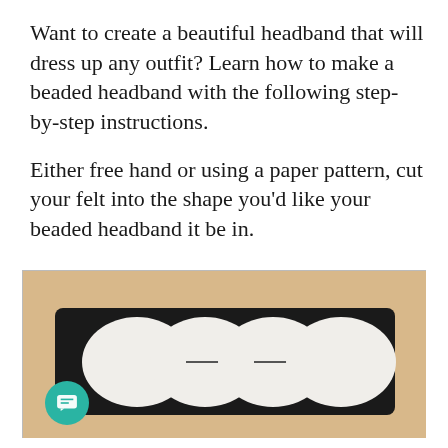Want to create a beautiful headband that will dress up any outfit? Learn how to make a beaded headband with the following step-by-step instructions.
Either free hand or using a paper pattern, cut your felt into the shape you’d like your beaded headband it be in.
[Figure (photo): A photograph showing a black felt headband strip on a wooden surface, with four overlapping white oval/circle paper pattern pieces laid on top of it. Two of the middle ovals have small horizontal slits cut in them.]